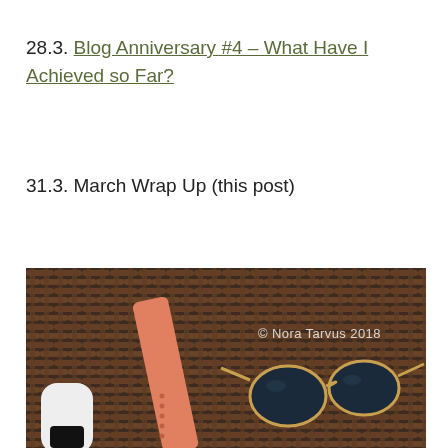28.3. Blog Anniversary #4 – What Have I Achieved so Far?
31.3. March Wrap Up (this post)
[Figure (photo): Photo of a wicker/rattan surface with a coral/salmon colored watch strap, sunglasses with gold frames, and a white device partially visible at bottom left. Watermark reads '© Nora Tarvus 2018'.]